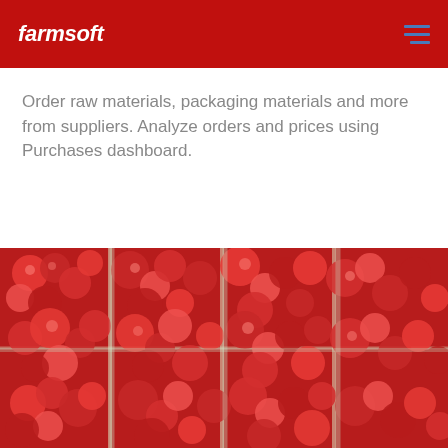farmsoft
Order raw materials, packaging materials and more from suppliers.  Analyze orders and prices using Purchases dashboard.
[Figure (photo): Close-up photo of fresh red raspberries packed in small white cardboard punnets/containers arranged in rows at a market or farm stand]